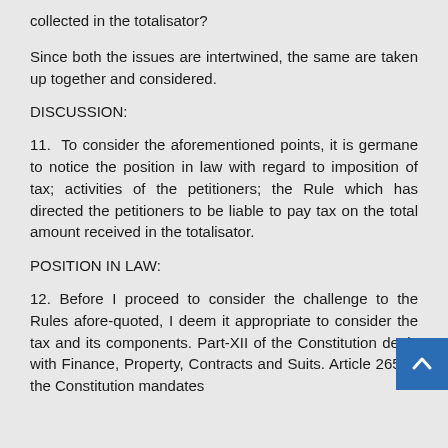collected in the totalisator?
Since both the issues are intertwined, the same are taken up together and considered.
DISCUSSION:
11. To consider the aforementioned points, it is germane to notice the position in law with regard to imposition of tax; activities of the petitioners; the Rule which has directed the petitioners to be liable to pay tax on the total amount received in the totalisator.
POSITION IN LAW:
12. Before I proceed to consider the challenge to the Rules afore-quoted, I deem it appropriate to consider the tax and its components. Part-XII of the Constitution deals with Finance, Property, Contracts and Suits. Article 265 of the Constitution mandates